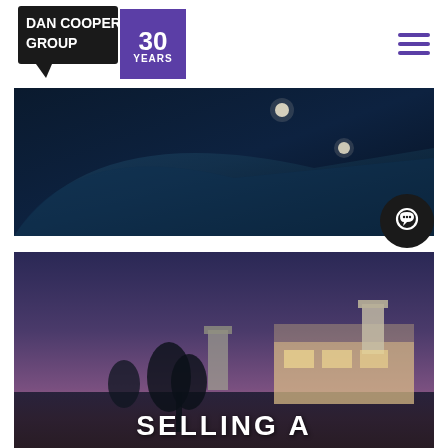Dan Cooper Group 30 Years logo and navigation menu
[Figure (photo): Dark night/dusk architectural photo showing curved roof or awning structure with two circular lights visible against a dark blue background]
[Figure (photo): Dusk photo of a luxury home exterior with chimneys, trees silhouetted against a purple-pink twilight sky, with text overlay reading SELLING A]
SELLING A